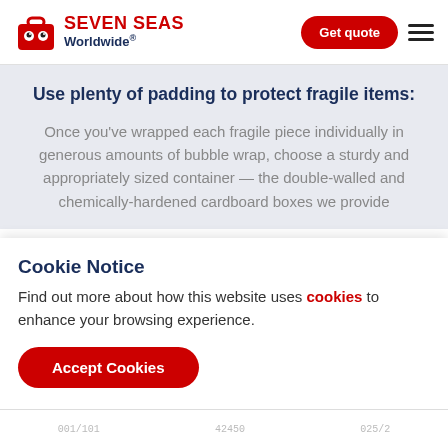SEVEN SEAS Worldwide® — Get quote
Use plenty of padding to protect fragile items:
Once you've wrapped each fragile piece individually in generous amounts of bubble wrap, choose a sturdy and appropriately sized container — the double-walled and chemically-hardened cardboard boxes we provide
Cookie Notice
Find out more about how this website uses cookies to enhance your browsing experience.
Accept Cookies